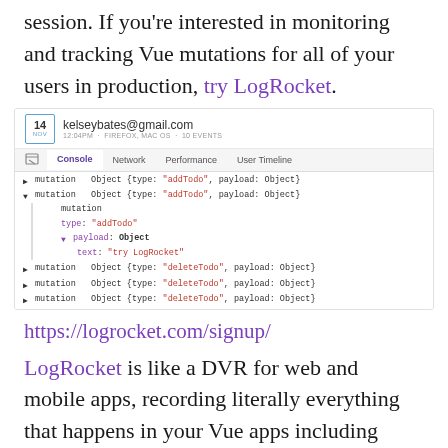session. If you're interested in monitoring and tracking Vue mutations for all of your users in production, try LogRocket.
[Figure (screenshot): LogRocket browser devtools screenshot showing console tab with Vuex mutation logs including addTodo and deleteTodo entries, with user kelseybates@gmail.com shown in the header.]
https://logrocket.com/signup/
LogRocket is like a DVR for web and mobile apps, recording literally everything that happens in your Vue apps including network requests, JavaScript errors, performance